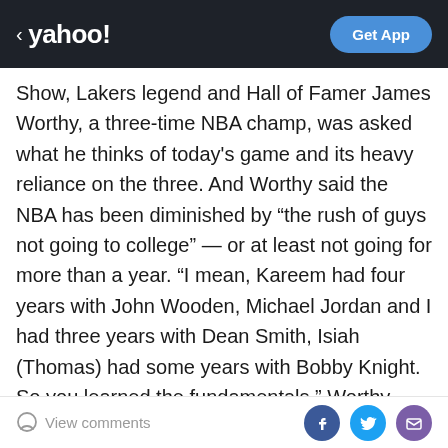< yahoo! | Get App
Show, Lakers legend and Hall of Famer James Worthy, a three-time NBA champ, was asked what he thinks of today's game and its heavy reliance on the three. And Worthy said the NBA has been diminished by “the rush of guys not going to college” — or at least not going for more than a year. “I mean, Kareem had four years with John Wooden, Michael Jordan and I had three years with Dean Smith, Isiah (Thomas) had some years with Bobby Knight. So you learned the fundamentals,” Worthy said. “Not only that, you learned how to live. You learned how to balance your freaking checkbook in college, there’s a lot of things. When you don’t get that, guys are coming to the NBA who are not fundamentally sound. All they do is
View comments | Facebook | Twitter | Email